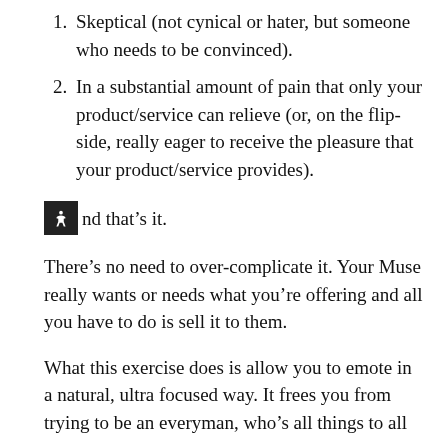Skeptical (not cynical or hater, but someone who needs to be convinced).
In a substantial amount of pain that only your product/service can relieve (or, on the flip-side, really eager to receive the pleasure that your product/service provides).
And that’s it.
There’s no need to over-complicate it. Your Muse really wants or needs what you’re offering and all you have to do is sell it to them.
What this exercise does is allow you to emote in a natural, ultra focused way. It frees you from trying to be an everyman, who’s all things to all